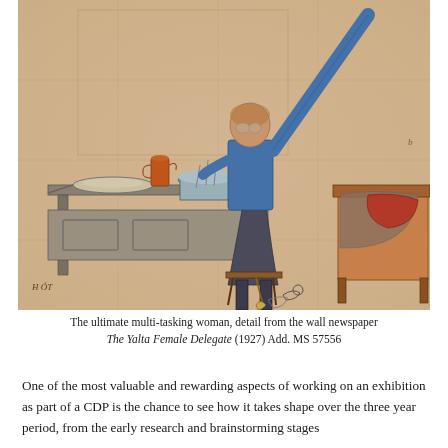[Figure (illustration): A watercolor/pencil illustration on aged paper showing a woman in a blue top and dark skirt standing on a stool, reaching upward with one arm. She is in a kitchen-like setting with a stove or table holding pots and a pan on the left, and a bed or cot on the right with objects on it. A broom and cat are visible near her feet. Artist's initials 'H ÓT' appear in the lower left.]
The ultimate multi-tasking woman, detail from the wall newspaper The Yalta Female Delegate (1927) Add. MS 57556
One of the most valuable and rewarding aspects of working on an exhibition as part of a CDP is the chance to see how it takes shape over the three year period, from the early research and brainstorming stages